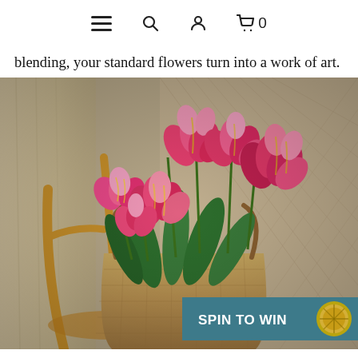Navigation bar with hamburger menu, search, account, and cart (0) icons
blending, your standard flowers turn into a work of art.
[Figure (photo): A bouquet of pink and red parrot tulips with ruffled petals arranged in a woven seagrass/jute tote bag sitting on a wooden chair, with curtains and a wicker wall in the background. A 'SPIN TO WIN' banner with a coin/wheel graphic is overlaid in the bottom right corner.]